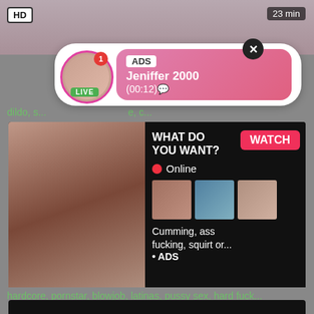[Figure (screenshot): Top video thumbnail strip with HD badge and 23 min label]
[Figure (infographic): Ad popup overlay with profile photo, LIVE badge, notification dot, ADS label, name Jeniffer 2000, time (00:12), and close button]
dildo, s..., c...
[Figure (screenshot): Main ad block showing video with WHAT DO YOU WANT? WATCH button, Online status, thumbnail images, text Cumming, ass fucking, squirt or..., ADS label, HD badge, 6 min]
The Perks Of Having Hardcore Pornstar Blowjob
hardcore, pornstar, blowjob, latinas, pussy sex, hard fuck...
[Figure (screenshot): Bottom dark video thumbnail beginning]